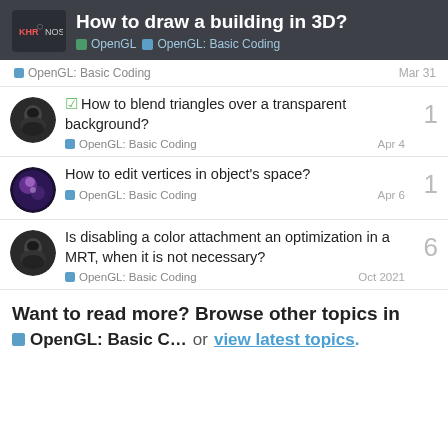How to draw a building in 3D? — OpenGL | OpenGL: Basic Coding
OpenGL: Basic Coding — Mar 31
☑ How to blend triangles over a transparent background? — OpenGL: Basic Coding — Apr 4 — 1
How to edit vertices in object's space? — OpenGL: Basic Coding — Apr 6 — 1
Is disabling a color attachment an optimization in a MRT, when it is not necessary? — OpenGL: Basic Coding — Oct 2021 — 6
Want to read more? Browse other topics in
■ OpenGL: Basic C...  or  view latest topics.